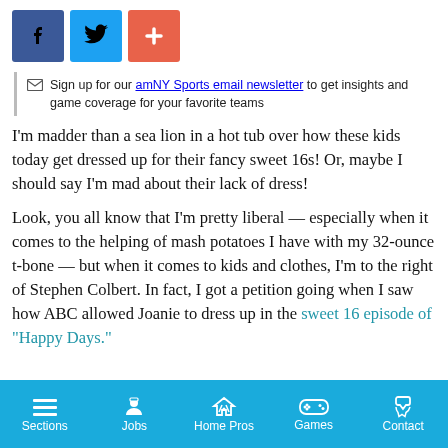[Figure (infographic): Social share buttons: Facebook (blue), Twitter (light blue), Plus/Google+ (salmon/orange-red)]
Sign up for our amNY Sports email newsletter to get insights and game coverage for your favorite teams
I’m madder than a sea lion in a hot tub over how these kids today get dressed up for their fancy sweet 16s! Or, maybe I should say I’m mad about their lack of dress!
Look, you all know that I’m pretty liberal — especially when it comes to the helping of mash potatoes I have with my 32-ounce t-bone — but when it comes to kids and clothes, I’m to the right of Stephen Colbert. In fact, I got a petition going when I saw how ABC allowed Joanie to dress up in the sweet 16 episode of “Happy Days.”
Sections | Jobs | Home Pros | Games | Contact